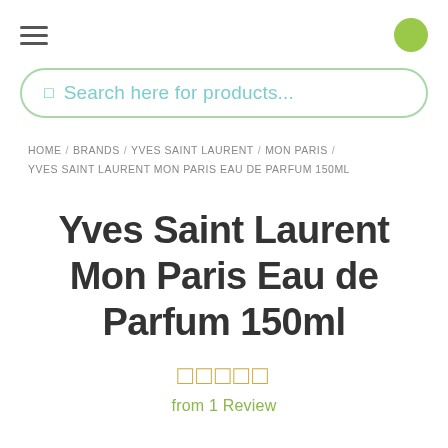☰ (hamburger menu) and user icon
🔍 Search here for products...
HOME / BRANDS / YVES SAINT LAURENT / MON PARIS / YVES SAINT LAURENT MON PARIS EAU DE PARFUM 150ML
Yves Saint Laurent Mon Paris Eau de Parfum 150ml
★★★★★ from 1 Review